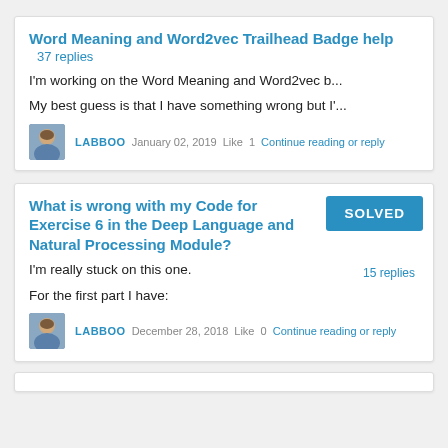Word Meaning and Word2vec Trailhead Badge help   37 replies
I'm working on the Word Meaning and Word2vec b...
My best guess is that I have something wrong but I'...
LABBOO   January 02, 2019   Like  1   Continue reading or reply
What is wrong with my Code for Exercise 6 in the Deep Language and Natural Processing Module?
SOLVED
15 replies
I'm really stuck on this one.
For the first part I have:
LABBOO   December 28, 2018   Like  0   Continue reading or reply